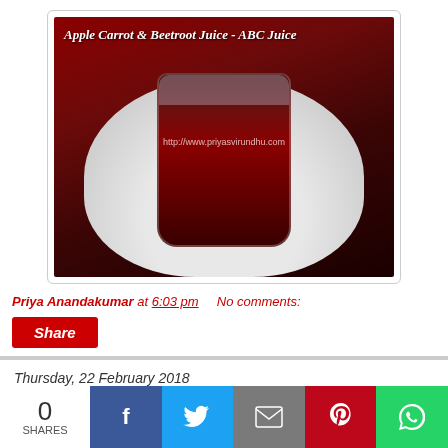[Figure (photo): Photo of a dark red juice (Apple Carrot Beetroot / ABC Juice) in a glass on a white plate with red fabric background. Title overlay: 'Apple Carrot & Beetroot Juice - ABC Juice' and watermark 'http://www.priyasvirundhu.com']
Priya Anandakumar at 6:03 pm   No comments:
Share
Thursday, 22 February 2018
Peanut Rice/Verkadalai Sadham/Easy Lunch